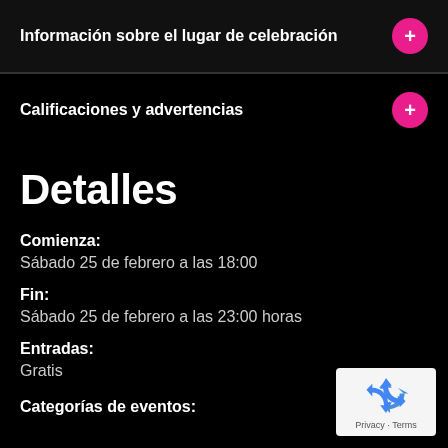Información sobre el lugar de celebración
Calificaciones y advertencias
Detalles
Comienza:
Sábado 25 de febrero a las 18:00
Fin:
Sábado 25 de febrero a las 23:00 horas
Entradas:
Gratis
[Figure (logo): reCAPTCHA badge with recycling arrow logo and text Privacy · Terms]
Categorías de eventos: